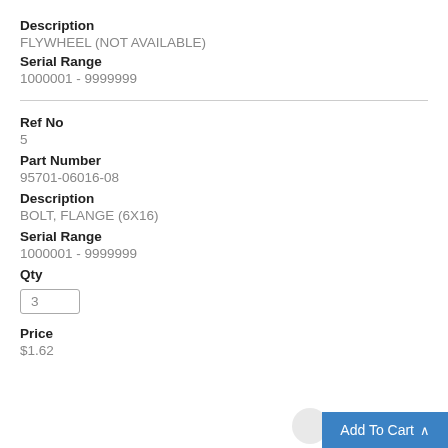Description
FLYWHEEL (NOT AVAILABLE)
Serial Range
1000001 - 9999999
Ref No
5
Part Number
95701-06016-08
Description
BOLT, FLANGE (6X16)
Serial Range
1000001 - 9999999
Qty
3
Price
$1.62